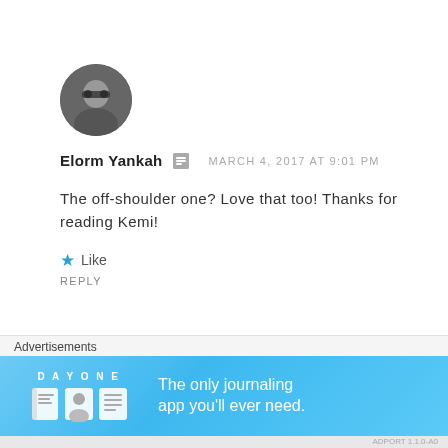[Figure (photo): Circular avatar photo of Elorm Yankah — grayscale photo of a person wearing sunglasses]
Elorm Yankah  MARCH 4, 2017 AT 9:01 PM
The off-shoulder one? Love that too! Thanks for reading Kemi!
★ Like
REPLY
[Figure (photo): Partial circular avatar at the bottom of the page]
Advertisements
[Figure (screenshot): DAY ONE app advertisement banner — blue background with icons and text: The only journaling app you'll ever need.]